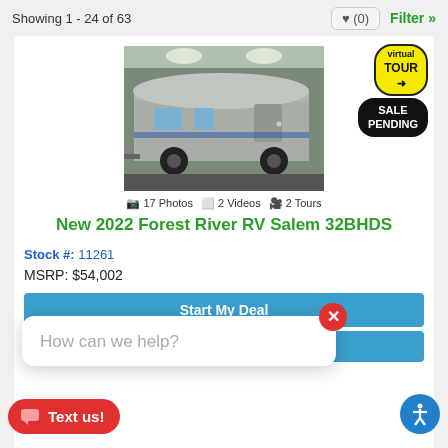Showing 1 - 24 of 63
[Figure (photo): RV travel trailer (Forest River RV Salem 32BHDS) parked inside a building, silver/grey exterior]
17 Photos  2 Videos  2 Tours
New 2022 Forest River RV Salem 32BHDS
Stock #: 11261
MSRP: $54,002
How can we help?
Start My Deal
Apply for Financing
Text us!